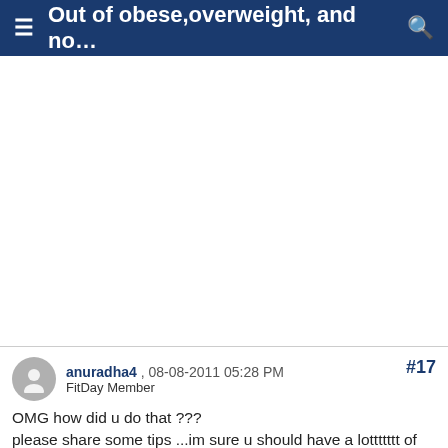≡ Out of obese,overweight, and no… 🔍
[Figure (other): Empty white area representing an image placeholder or collapsed image content area]
anuradha4 , 08-08-2011 05:28 PM
FitDay Member
#17
OMG how did u do that ???
please share some tips ...im sure u should have a lottttttt of determination to achieve that !!!